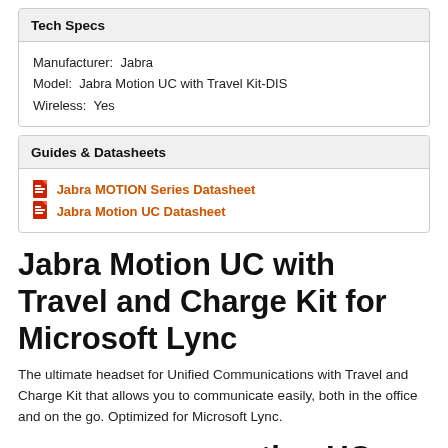Tech Specs
Manufacturer:  Jabra
Model:  Jabra Motion UC with Travel Kit-DIS
Wireless:  Yes
Guides & Datasheets
Jabra MOTION Series Datasheet
Jabra Motion UC Datasheet
Jabra Motion UC with Travel and Charge Kit for Microsoft Lync
The ultimate headset for Unified Communications with Travel and Charge Kit that allows you to communicate easily, both in the office and on the go. Optimized for Microsoft Lync.
…otion UC with Travel and Kit for Microsoft Lync
[Figure (logo): Norton Shopping Guarantee badge with checkmark, brand name, and 'verifying...' text]